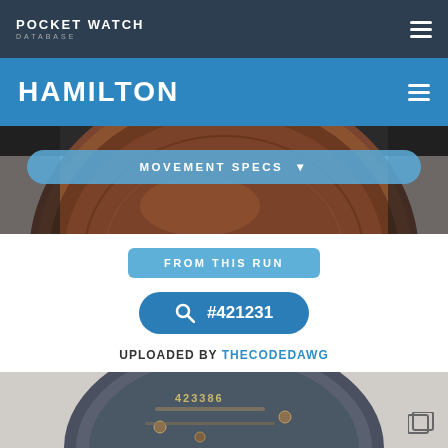POCKET WATCH DATABASE
HAMILTON
[Figure (photo): Close-up of copper/bronze pocket watch movement, partial view from top]
MOVEMENT SPECS
FROM THIS RUN
#421231
UPLOADED BY THECODEDAWG
[Figure (photo): Close-up of pocket watch movement showing serial number 423386, partially visible, with screws and gears]